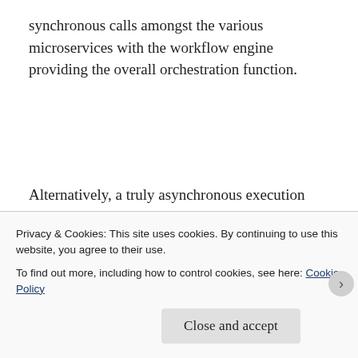synchronous calls amongst the various microservices with the workflow engine providing the overall orchestration function.
Alternatively, a truly asynchronous execution model can be implemented by adopting an event driven streams based architecture by replacing the SWF service with a queue management service such as AWS Simple Queueing Service (SQS) or Kafka
Privacy & Cookies: This site uses cookies. By continuing to use this website, you agree to their use.
To find out more, including how to control cookies, see here: Cookie Policy
Close and accept